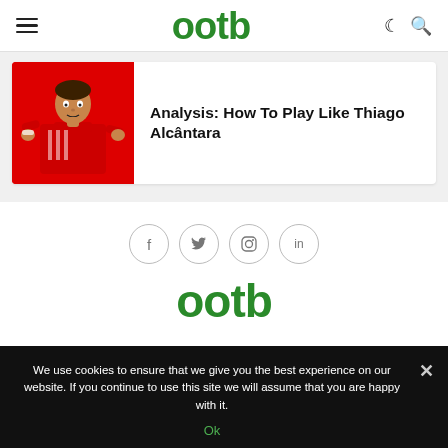ootb
Analysis: How To Play Like Thiago Alcântara
[Figure (logo): ootb website logo and social media icons footer]
We use cookies to ensure that we give you the best experience on our website. If you continue to use this site we will assume that you are happy with it.
Ok